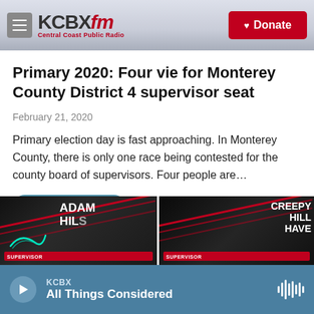KCBX FM Central Coast Public Radio — Donate
Primary 2020: Four vie for Monterey County District 4 supervisor seat
February 21, 2020
Primary election day is fast approaching. In Monterey County, there is only one race being contested for the county board of supervisors. Four people are…
[Figure (other): Audio player button: LISTEN • 3:48]
[Figure (photo): Two side-by-side thumbnail images. Left image shows a dark background with text 'ADAM HIL' visible and glowing green/teal lines. Right image shows a dark background with text 'CREEPY HILL HAVE' visible in white.]
KCBX — All Things Considered